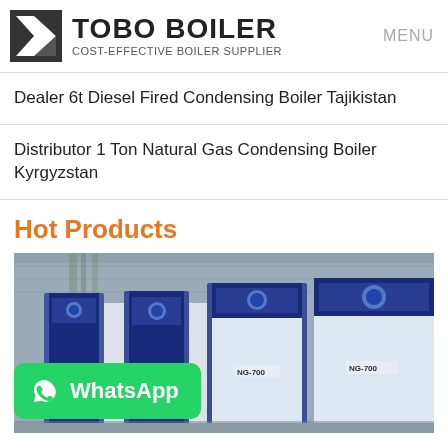TOBO BOILER — COST-EFFECTIVE BOILER SUPPLIER — MENU
Dealer 6t Diesel Fired Condensing Boiler Tajikistan
Distributor 1 Ton Natural Gas Condensing Boiler Kyrgyzstan
Hot Products
[Figure (photo): Industrial condensing boilers (blue and white, model NG-700) lined up outdoors against a grey wall with bamboo plants in background. WhatsApp button overlay in lower left.]